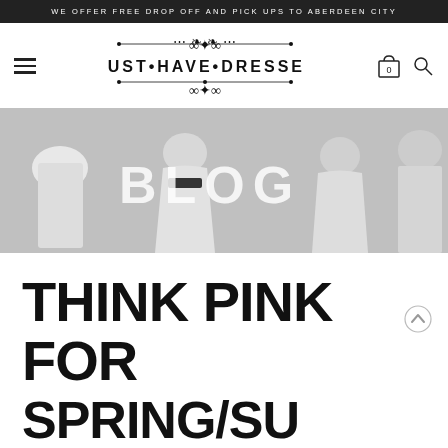WE OFFER FREE DROP OFF AND PICK UPS TO ABERDEEN CITY
[Figure (logo): Must Have Dresses logo with decorative scroll ornaments above and below the brand name, hamburger menu icon on left, shopping cart icon with 0 and search icon on right]
[Figure (photo): Blog banner image showing multiple women in white dresses, black and white photography, with the word BLOG overlaid in large white text]
THINK PINK FOR SPRING/SUMMER